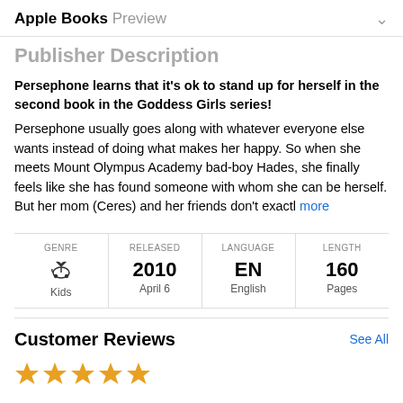Apple Books Preview
Publisher Description
Persephone learns that it's ok to stand up for herself in the second book in the Goddess Girls series!
Persephone usually goes along with whatever everyone else wants instead of doing what makes her happy. So when she meets Mount Olympus Academy bad-boy Hades, she finally feels like she has found someone with whom she can be herself. But her mom (Ceres) and her friends don't exactl more
| GENRE | RELEASED | LANGUAGE | LENGTH |
| --- | --- | --- | --- |
| 🎠 Kids | 2010
April 6 | EN
English | 160
Pages |
Customer Reviews
See All
[Figure (other): Five orange star ratings]